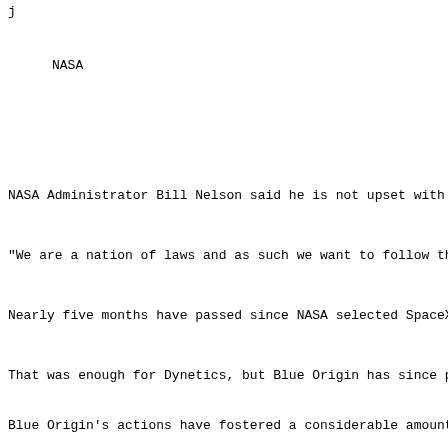j
NASA
NASA Administrator Bill Nelson said he is not upset with
“We are a nation of laws and as such we want to follow th
Nearly five months have passed since NASA selected SpaceX
That was enough for Dynetics, but Blue Origin has since p
Blue Origin’s actions have fostered a considerable amount